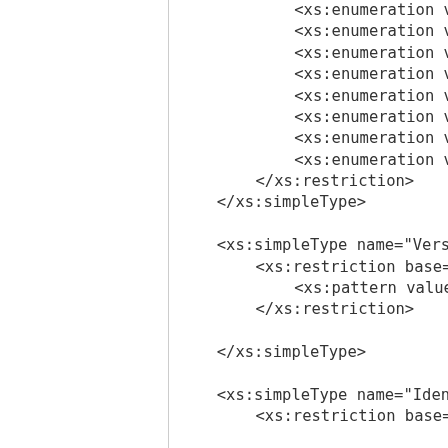<xs:enumeration value=
<xs:enumeration value=
<xs:enumeration value=
<xs:enumeration value=
<xs:enumeration value=
<xs:enumeration value=
<xs:enumeration value=
<xs:enumeration value=
</xs:restriction>
</xs:simpleType>

<xs:simpleType name="Vers:
  <xs:restriction base="xs
    <xs:pattern value="\d:
  </xs:restriction>

</xs:simpleType>

<xs:simpleType name="Ident
  <xs:restriction base="xs